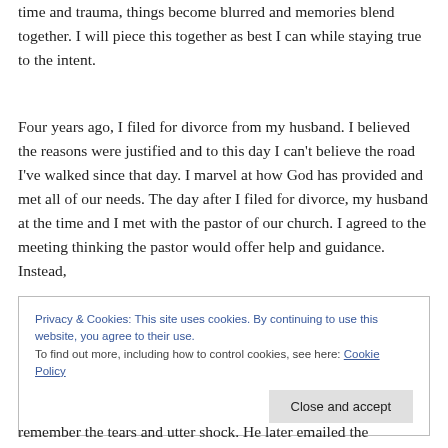time and trauma, things become blurred and memories blend together. I will piece this together as best I can while staying true to the intent.
Four years ago, I filed for divorce from my husband. I believed the reasons were justified and to this day I can't believe the road I've walked since that day. I marvel at how God has provided and met all of our needs. The day after I filed for divorce, my husband at the time and I met with the pastor of our church. I agreed to the meeting thinking the pastor would offer help and guidance. Instead,
Privacy & Cookies: This site uses cookies. By continuing to use this website, you agree to their use.
To find out more, including how to control cookies, see here: Cookie Policy
remember the tears and utter shock. He later emailed the